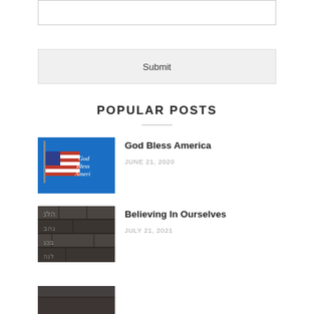[Figure (other): Empty text input box]
Submit
POPULAR POSTS
[Figure (photo): Photo of American flag against blue sky with text 'God Bless America']
God Bless America
JUNE 21, 2020
[Figure (photo): Photo of ancient stone wall with Hebrew or Aramaic inscriptions]
Believing In Ourselves
JULY 21, 2021
[Figure (photo): Partial photo, third post image (cropped at bottom of page)]